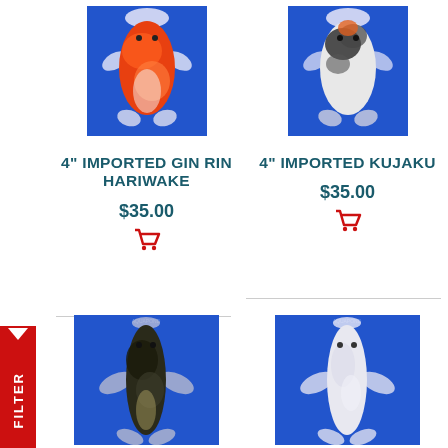[Figure (photo): Orange and white koi fish (Gin Rin Hariwake) photographed from above on blue background]
[Figure (photo): Black and white/orange koi fish (Kujaku) photographed from above on blue background]
4" IMPORTED GIN RIN HARIWAKE
$35.00
4" IMPORTED KUJAKU
$35.00
[Figure (photo): Dark/black koi fish photographed from above on blue background, full body view]
[Figure (photo): White/platinum koi fish photographed from above on blue background, full body view]